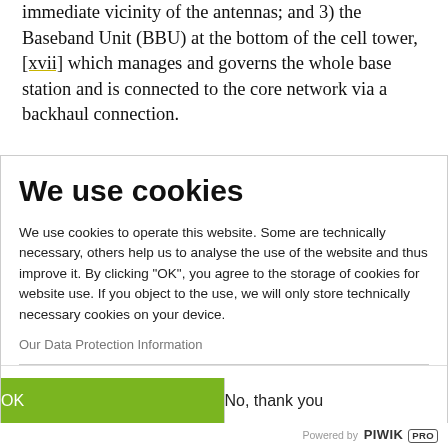immediate vicinity of the antennas; and 3) the Baseband Unit (BBU) at the bottom of the cell tower, [xvii] which manages and governs the whole base station and is connected to the core network via a backhaul connection.

In general, these components are proprietary,
We use cookies
We use cookies to operate this website. Some are technically necessary, others help us to analyse the use of the website and thus improve it. By clicking "OK", you agree to the storage of cookies for website use. If you object to the use, we will only store technically necessary cookies on your device.
Our Data Protection Information
OK
No, thank you
Powered by PIWIK PRO